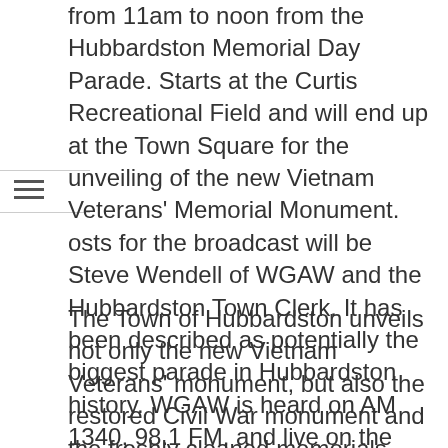from 11am to noon from the Hubbardston Memorial Day Parade. Starts at the Curtis Recreational Field and will end up at the Town Square for the unveiling of the new Vietnam Veterans' Memorial Monument. osts for the broadcast will be Steve Wendell of WGAW and the Hubbardston Town Clerk. It has been described as potentially the biggest parade in Hubbardston history. WGAW is heard on AM 1340, 98.1 FM, and live on the internet, CLICK HERE
The Town of Hubbardston unveils not only the new Vietnam Veterans' monument, but also the restored Civil War monument and the freshly cleaned memorials that honor those who fought in the Spanish American War, World War I, World War II, and the